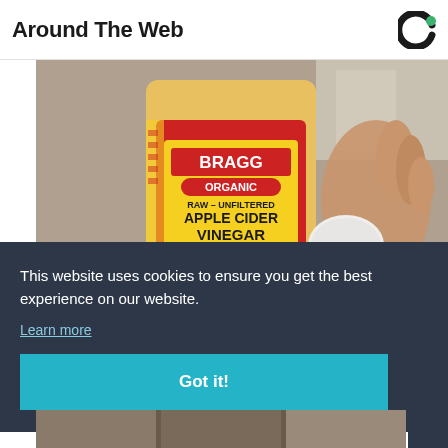Around The Web
[Figure (photo): A bottle of Bragg Organic Raw Unfiltered Apple Cider Vinegar being held by a hand, with a small white cup visible.]
This website uses cookies to ensure you get the best experience on our website.
Learn more
Got it!